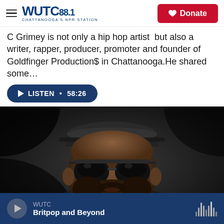WUTC 88.1 CHATTANOOGA'S NPR STATION | Donate
C Grimey is not only a hip hop artist  but also a writer, rapper, producer, promoter and founder of Goldfinger Production$ in Chattanooga.He shared some…
LISTEN • 58:26
[Figure (photo): Close-up portrait of a bearded man wearing dark sunglasses and a cap, photographed in dramatic low-key lighting against a dark background.]
WUTC | Britpop and Beyond